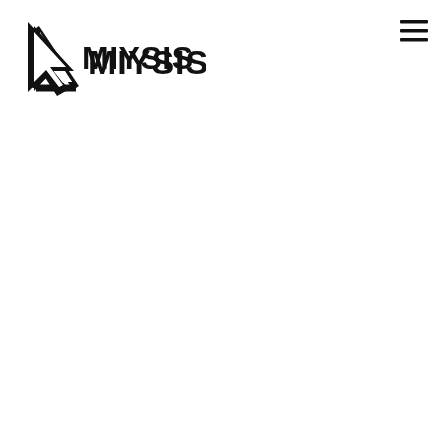[Figure (logo): MIYSIS logo: a triangular arrow/cursor shape on the left with the text MIYSIS in bold sans-serif capitals]
[Figure (other): Hamburger menu icon (three horizontal lines) in the top right corner]